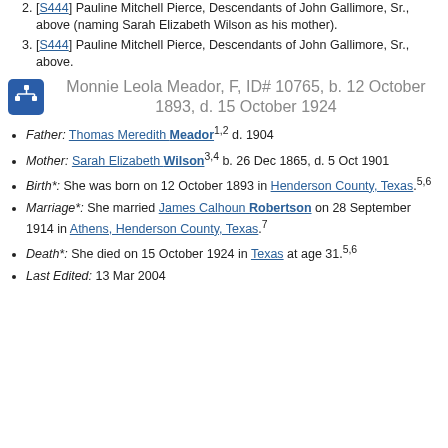[S444] Pauline Mitchell Pierce, Descendants of John Gallimore, Sr., above (naming Sarah Elizabeth Wilson as his mother).
[S444] Pauline Mitchell Pierce, Descendants of John Gallimore, Sr., above.
Monnie Leola Meador, F, ID# 10765, b. 12 October 1893, d. 15 October 1924
Father: Thomas Meredith Meador 1,2 d. 1904
Mother: Sarah Elizabeth Wilson 3,4 b. 26 Dec 1865, d. 5 Oct 1901
Birth*: She was born on 12 October 1893 in Henderson County, Texas. 5,6
Marriage*: She married James Calhoun Robertson on 28 September 1914 in Athens, Henderson County, Texas. 7
Death*: She died on 15 October 1924 in Texas at age 31. 5,6
Last Edited: 13 Mar 2004